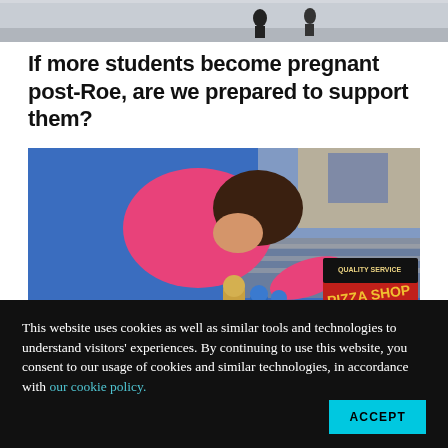[Figure (photo): Partial view of a photo at the top of the page — appears to show people walking, cropped to a narrow horizontal strip]
If more students become pregnant post-Roe, are we prepared to support them?
[Figure (photo): A young child in a pink hoodie leaning over a blue carpet playing with wooden toy figures and a colorful pizza shop playset]
This website uses cookies as well as similar tools and technologies to understand visitors' experiences. By continuing to use this website, you consent to our usage of cookies and similar technologies, in accordance with our cookie policy.